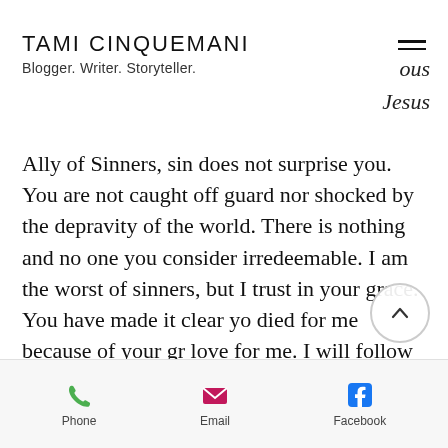TAMI CINQUEMANI
Blogger. Writer. Storyteller.
ous
Jesus
Ally of Sinners, sin does not surprise you. You are not caught off guard nor shocked by the depravity of the world. There is nothing and no one you consider irredeemable. I am the worst of sinners, but I trust in your grace. You have made it clear you died for me because of your great love for me. I will follow you. Amen.
Phone   Email   Facebook